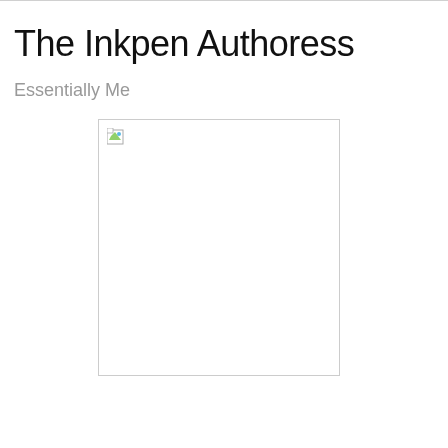The Inkpen Authoress
Essentially Me
[Figure (photo): A placeholder image box with a broken image icon in the upper-left corner, white background with light gray border.]